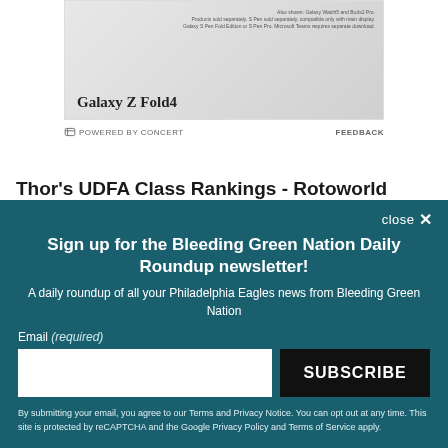[Figure (advertisement): Samsung Galaxy Z Fold4 advertisement showing phone and accessories]
POWERED BY CONCERT   FEEDBACK
Thor's UDFA Class Rankings - Rotoworld
5) The Eagles graded out well in my system by
Sign up for the Bleeding Green Nation Daily Roundup newsletter!
A daily roundup of all your Philadelphia Eagles news from Bleeding Green Nation
Email (required)
SUBSCRIBE
By submitting your email, you agree to our Terms and Privacy Notice. You can opt out at any time. This site is protected by reCAPTCHA and the Google Privacy Policy and Terms of Service apply.